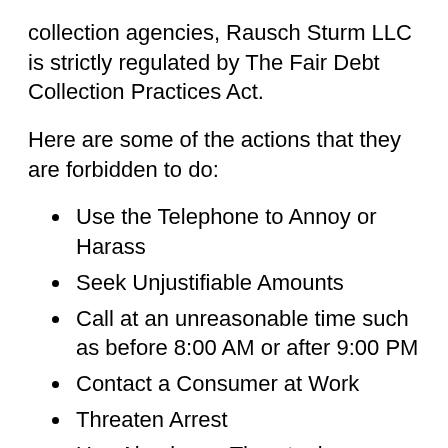collection agencies, Rausch Sturm LLC is strictly regulated by The Fair Debt Collection Practices Act.
Here are some of the actions that they are forbidden to do:
Use the Telephone to Annoy or Harass
Seek Unjustifiable Amounts
Call at an unreasonable time such as before 8:00 AM or after 9:00 PM
Contact a Consumer at Work
Threaten Arrest
Use Abusive or Threatening Language
Contact a relative, friend, or colleague who doesn't own the debt